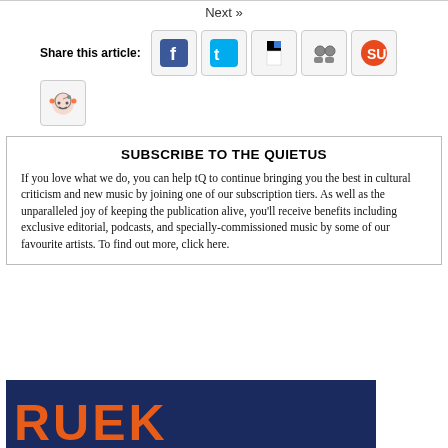Next »
Share this article:
[Figure (other): Social sharing icons: Facebook, Twitter, Delicious, Google Buzz/Contacts, StumbleUpon, Reddit]
SUBSCRIBE TO THE QUIETUS

If you love what we do, you can help tQ to continue bringing you the best in cultural criticism and new music by joining one of our subscription tiers. As well as the unparalleled joy of keeping the publication alive, you'll receive benefits including exclusive editorial, podcasts, and specially-commissioned music by some of our favourite artists. To find out more, click here.
[Figure (other): Dark navy blue banner with orange bold letters partially visible, appears to be the Quietus logo/branding]